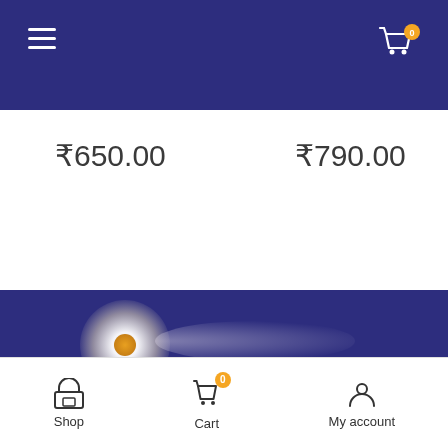Navigation bar with hamburger menu and cart icon (badge: 0)
₹650.00
₹790.00
[Figure (illustration): Dark blue banner with glowing orb/comet element and blurred logo/text]
Shop | Cart (0) | My account